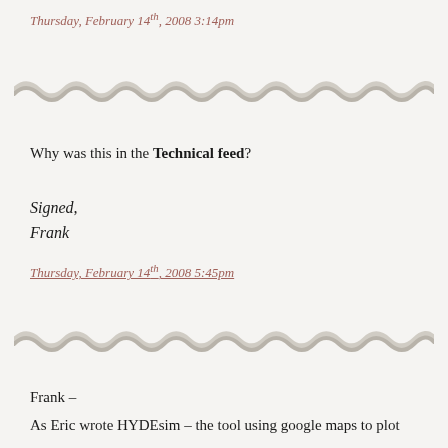Thursday, February 14th, 2008 3:14pm
[Figure (illustration): Decorative wavy divider line]
Why was this in the Technical feed?
Signed,
Frank
Thursday, February 14th, 2008 5:45pm
[Figure (illustration): Decorative wavy divider line]
Frank –
As Eric wrote HYDEsim – the tool using google maps to plot